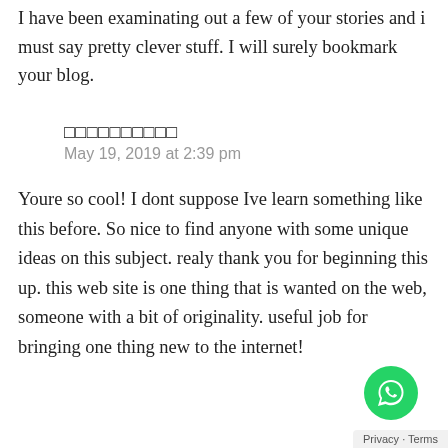I have been examinating out a few of your stories and i must say pretty clever stuff. I will surely bookmark your blog.
□□□□□□□□□□
May 19, 2019 at 2:39 pm
Youre so cool! I dont suppose Ive learn something like this before. So nice to find anyone with some unique ideas on this subject. realy thank you for beginning this up. this web site is one thing that is wanted on the web, someone with a bit of originality. useful job for bringing one thing new to the internet!